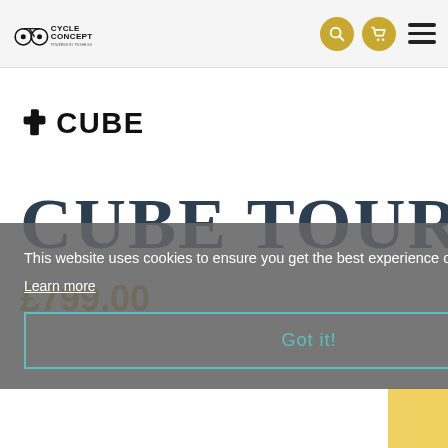Cycle Concept — navigation header with logo, search, cart, and menu icons
[Figure (logo): CUBE brand logo — stylized four-cornered asterisk/cross shape followed by bold text CUBE]
CUBE TOURING
£799.00
This website uses cookies to ensure you get the best experience on our website.
Learn more
Got it!